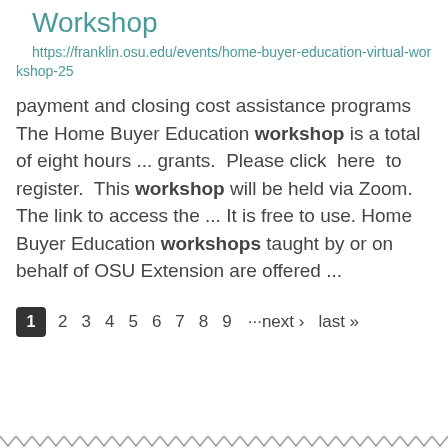Workshop
https://franklin.osu.edu/events/home-buyer-education-virtual-workshop-25
payment and closing cost assistance programs The Home Buyer Education workshop is a total of eight hours ... grants. Please click here to register. This workshop will be held via Zoom. The link to access the ... It is free to use. Home Buyer Education workshops taught by or on behalf of OSU Extension are offered ...
1 2 3 4 5 6 7 8 9 ···next › last »